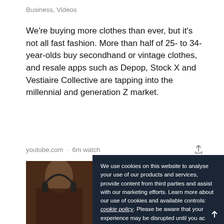Business, Videos
We're buying more clothes than ever, but it's not all fast fashion. More than half of 25- to 34-year-olds buy secondhand or vintage clothes, and resale apps such as Depop, Stock X and Vestiaire Collective are tapping into the millennial and generation Z market.
youtube.com · 6m watch
[Figure (screenshot): Cookie consent overlay on dark navy background with 'ACCEPT COOKIES' button, over a photo showing a person with headphones]
We use cookies on this website to analyse your use of our products and services, provide content from third parties and assist with our marketing efforts. Learn more about our use of cookies and available controls: cookie policy. Please be aware that your experience may be disrupted until you accept cookies.
ACCEPT COOKIES